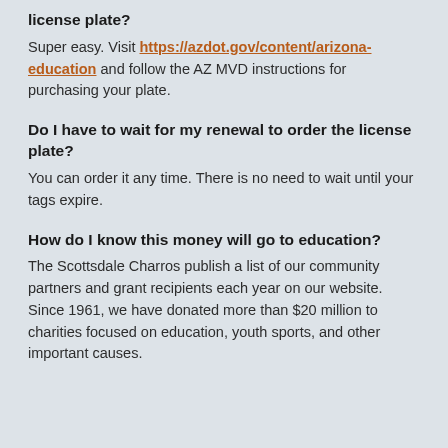license plate?
Super easy. Visit https://azdot.gov/content/arizona-education and follow the AZ MVD instructions for purchasing your plate.
Do I have to wait for my renewal to order the license plate?
You can order it any time. There is no need to wait until your tags expire.
How do I know this money will go to education?
The Scottsdale Charros publish a list of our community partners and grant recipients each year on our website. Since 1961, we have donated more than $20 million to charities focused on education, youth sports, and other important causes.